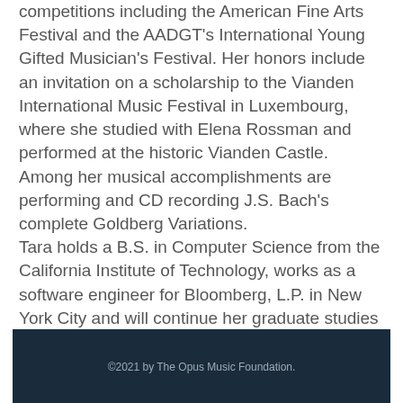competitions including the American Fine Arts Festival and the AADGT's International Young Gifted Musician's Festival. Her honors include an invitation on a scholarship to the Vianden International Music Festival in Luxembourg, where she studied with Elena Rossman and performed at the historic Vianden Castle. Among her musical accomplishments are performing and CD recording J.S. Bach's complete Goldberg Variations. Tara holds a B.S. in Computer Science from the California Institute of Technology, works as a software engineer for Bloomberg, L.P. in New York City and will continue her graduate studies at Princeton University.
©2021 by The Opus Music Foundation.